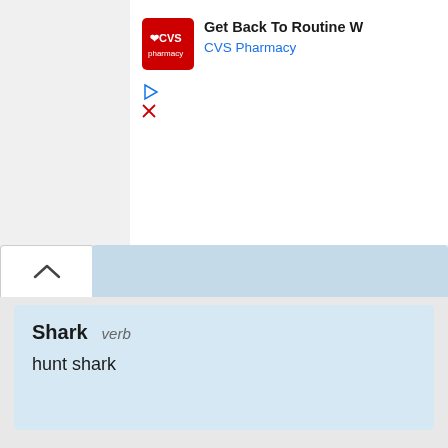[Figure (screenshot): CVS Pharmacy advertisement banner with logo, text 'Get Back To Routine W' and 'CVS Pharmacy' in blue]
Shark  verb
hunt shark
Shark
Sharks are a group of elasmobranch fish characterized by a cartilaginous skeleton, five to seven gill slits on the sides of the head, and pectoral fins that are not fused to the head.